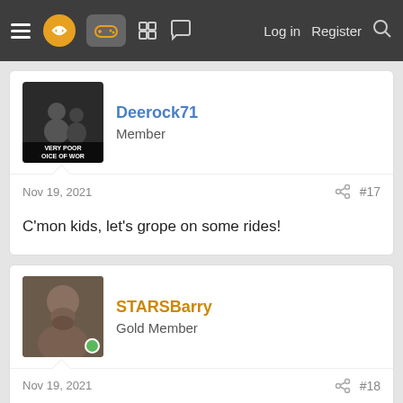Navigation bar with menu, logo, controller icon, grid icon, chat icon, Log in, Register, Search
Deerock71
Member
Nov 19, 2021  #17
C'mon kids, let's grope on some rides!
STARSBarry
Gold Member
Nov 19, 2021  #18
You know what with recent conversations iv had I'm just going to leave this here..

It will have 5 unique zones, Farcry, Assassin's Creed, Tom